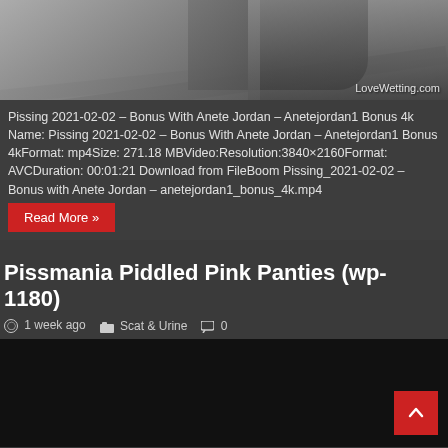[Figure (photo): Partial view of a person in black outfit on a railing structure, with watermark 'LoveWetting.com' in bottom right corner]
Pissing 2021-02-02 – Bonus With Anete Jordan – Anetejordan1 Bonus 4k Name: Pissing 2021-02-02 – Bonus With Anete Jordan – Anetejordan1 Bonus 4kFormat: mp4Size: 271.18 MBVideo:Resolution:3840×2160Format: AVCDuration: 00:01:21 Download from FileBoom Pissing_2021-02-02 – Bonus with Anete Jordan – anetejordan1_bonus_4k.mp4
Read More »
Pissmania Piddled Pink Panties (wp-1180)
1 week ago   Scat & Urine   0
[Figure (photo): Dark/black image area, bottom section of article]
^